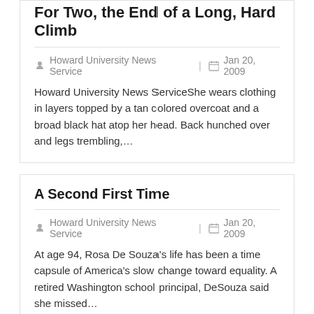For Two, the End of a Long, Hard Climb
Howard University News Service | Jan 20, 2009
Howard University News ServiceShe wears clothing in layers topped by a tan colored overcoat and a broad black hat atop her head. Back hunched over and legs trembling,...
A Second First Time
Howard University News Service | Jan 20, 2009
At age 94, Rosa De Souza's life has been a time capsule of America's slow change toward equality. A retired Washington school principal, DeSouza said she missed...
The Emancipation of Mimi
Howard University News Service | Apr 23, 2008